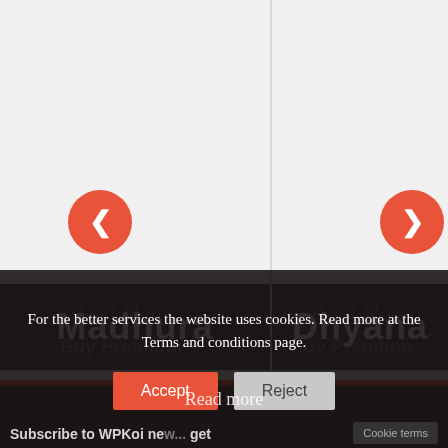[Figure (screenshot): Carousel UI showing two panels: left panel with left navigation arrow button (orange circle with chevron left) and 'Madhura' label on dark background; right panel with right navigation arrow button (orange circle with chevron right) and 'Dhyana' label on dark background. Red accent bars below each name label.]
For the better services the website uses cookies. Read more at the Terms and conditions page.
Accept
Reject
Read more
Subscribe to WPKoi ne... get